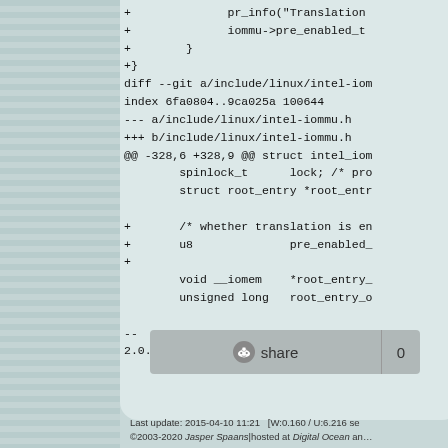+ pr_info("Translation...
+ iommu->pre_enabled_t...
+         }
+}
diff --git a/include/linux/intel-iom...
index 6fa0804..9ca025a 100644
--- a/include/linux/intel-iommu.h
+++ b/include/linux/intel-iommu.h
@@ -328,6 +328,9 @@ struct intel_iom...
         spinlock_t       lock; /* pro...
         struct root_entry *root_entr...

+        /* whether translation is en...
+        u8               pre_enabled_...
+
         void __iomem     *root_entry_...
         unsigned long    root_entry_o...

--
2.0.0-rc0
[Figure (other): Reddit share button with count 0]
Last update: 2015-04-10 11:21   [W:0.160 / U:6.216 se
©2003-2020 Jasper Spaans|hosted at Digital Ocean an...